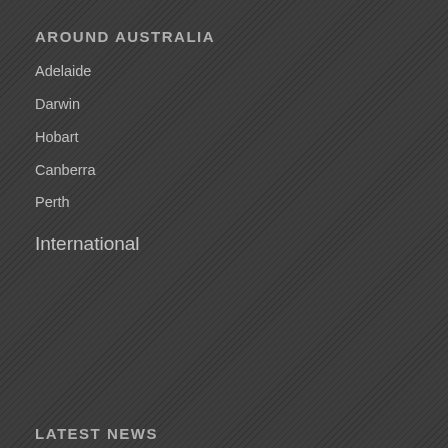AROUND AUSTRALIA
Adelaide
Darwin
Hobart
Canberra
Perth
International
LATEST NEWS
[Figure (photo): Small thumbnail photo of a bridal couple]
Adelaide Bridal Photoshoot and Reception – Emre & Sara
August 19, 2022 - 12:35 pm